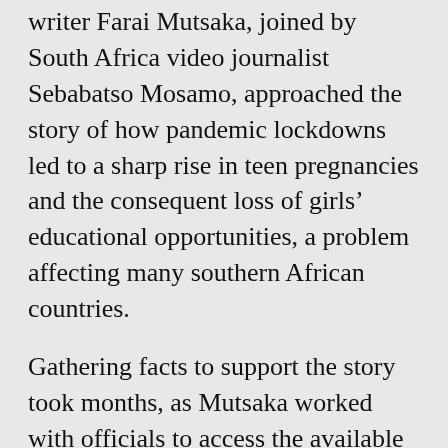writer Farai Mutsaka, joined by South Africa video journalist Sebabatso Mosamo, approached the story of how pandemic lockdowns led to a sharp rise in teen pregnancies and the consequent loss of girls' educational opportunities, a problem affecting many southern African countries.
Gathering facts to support the story took months, as Mutsaka worked with officials to access the available data. Then the team faced the challenge of finding families willing to speak on the record. Most wouldn't talk publicly, but Mukwazhi and Mutsaka found a 13-year-old who wanted her story told. The pair